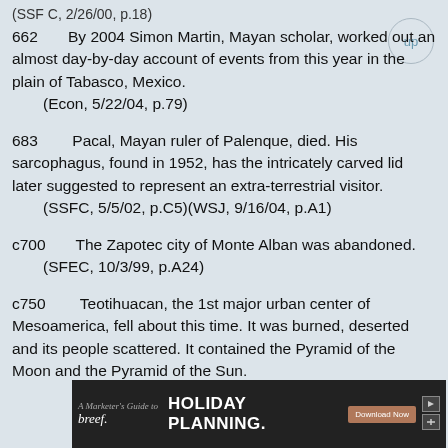(SSF C, 2/26/00, p.18)
662        By 2004 Simon Martin, Mayan scholar, worked out an almost day-by-day account of events from this year in the plain of Tabasco, Mexico.
    (Econ, 5/22/04, p.79)
683        Pacal, Mayan ruler of Palenque, died. His sarcophagus, found in 1952, has the intricately carved lid later suggested to represent an extra-terrestrial visitor.
    (SSFC, 5/5/02, p.C5)(WSJ, 9/16/04, p.A1)
c700        The Zapotec city of Monte Alban was abandoned.
    (SFEC, 10/3/99, p.A24)
c750        Teotihuacan, the 1st major urban center of Mesoamerica, fell about this time. It was burned, deserted and its people scattered. It contained the Pyramid of the Moon and the Pyramid of the Sun.
[Figure (other): Advertisement banner for breef. A Marketer's Guide to Holiday Planning with Download Now button.]